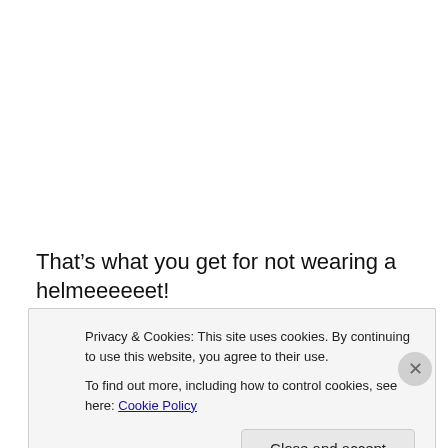That’s what you get for not wearing a helmeeeeeet!
[Figure (illustration): A stylized 3D animated female character with red hair framed in a blue circular magnifying glass icon, resembling a hidden object game character.]
Where my horse and my helmet are? Where my horse is
Privacy & Cookies: This site uses cookies. By continuing to use this website, you agree to their use.
To find out more, including how to control cookies, see here: Cookie Policy
Close and accept